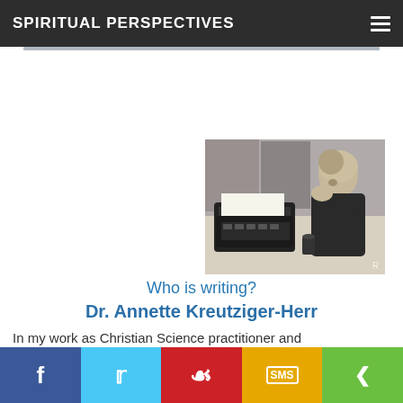SPIRITUAL PERSPECTIVES
[Figure (photo): Black and white vintage photo of a woman sitting at a typewriter, resting her chin on her hand, with artwork visible in the background]
Who is writing?
Dr. Annette Kreutziger-Herr
In my work as Christian Science practitioner and
[Figure (infographic): Social sharing bar with Facebook, Twitter, Pinterest, SMS, and share buttons]